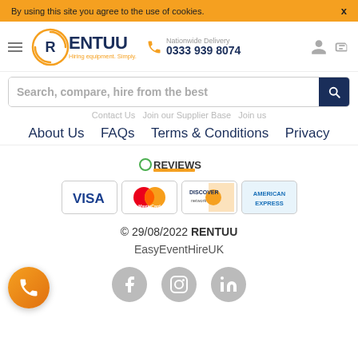By using this site you agree to the use of cookies.
[Figure (logo): RENTUU logo with orange circle containing R, and tagline Hiring equipment. Simply.]
Nationwide Delivery
0333 939 8074
Search, compare, hire from the best
Contact Us  Join our Supplier Base  Join us
About Us   FAQs   Terms & Conditions   Privacy
[Figure (logo): REVIEWS badge logo]
[Figure (infographic): Payment logos: VISA, MasterCard, DISCOVER, AMERICAN EXPRESS]
© 29/08/2022 RENTUU
EasyEventHireUK
[Figure (infographic): Orange phone FAB button and social media icons for Facebook, Instagram, LinkedIn]